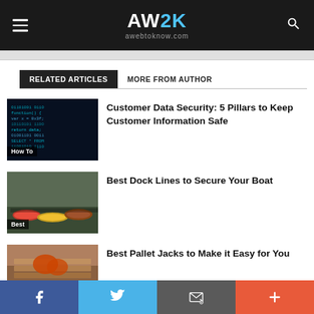AW2K awebtoknow.com
RELATED ARTICLES  MORE FROM AUTHOR
[Figure (photo): Dark hacking/coding screen with cyan code overlay, labeled 'How To']
Customer Data Security: 5 Pillars to Keep Customer Information Safe
[Figure (photo): Aerial view of colorful wooden boats at a dock, labeled 'Best']
Best Dock Lines to Secure Your Boat
[Figure (photo): Person in gloves handling pallet jacks]
Best Pallet Jacks to Make it Easy for You